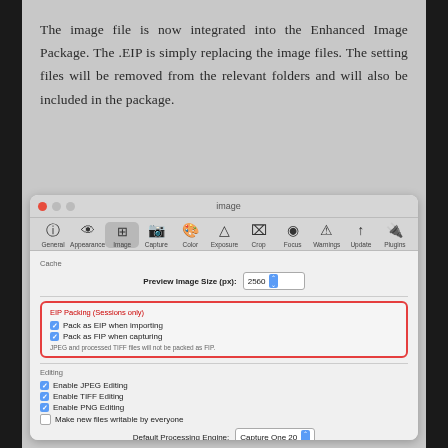The image file is now integrated into the Enhanced Image Package. The .EIP is simply replacing the image files. The setting files will be removed from the relevant folders and will also be included in the package.
[Figure (screenshot): macOS application preferences window titled 'image' showing the Image tab selected. Contains sections: Cache (Preview Image Size: 2560), EIP Packing (Sessions only) with red border containing checkboxes for 'Pack as EIP when importing' and 'Pack as FIP when capturing', Editing section with checkboxes for Enable JPEG/TIFF/PNG Editing and Make new files writable by everyone, Default Processing Engine dropdown set to 'Capture One 20', and Metadata section with Auto Sync Sidecar XMP set to None and two unchecked preference options.]